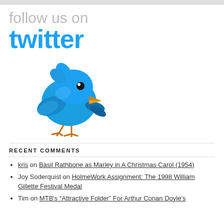[Figure (logo): Follow us on Twitter promotional banner with Twitter bird logo. Gray 'follow us on' text above blue 'twitter' text in Twitter's logo font, with a 3D blue Twitter bird illustration below.]
RECENT COMMENTS
kris on Basil Rathbone as Marley in A Christmas Carol (1954)
Joy Soderquist on HolmeWork Assignment: The 1998 William Gillette Festival Medal
Tim on MTB's “Attractive Folder” For Arthur Conan Doyle’s